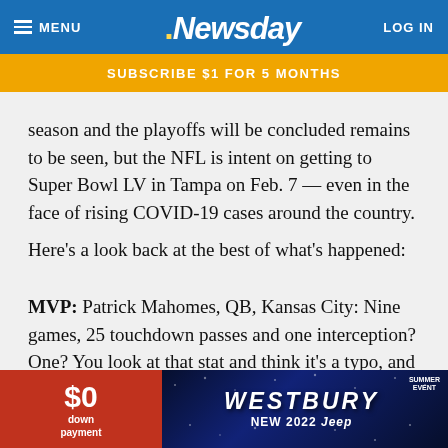MENU | Newsday | LOG IN
SUBSCRIBE $1 FOR 5 MONTHS
season and the playoffs will be concluded remains to be seen, but the NFL is intent on getting to Super Bowl LV in Tampa on Feb. 7 — even in the face of rising COVID-19 cases around the country.
Here's a look back at the best of what's happened:
MVP: Patrick Mahomes, QB, Kansas City: Nine games, 25 touchdown passes and one interception? One? You look at that stat and think it's a typo, and then you realize that no, it's just Mahomes having another brilliant season and further mastering the art of playing quarterback. He and Andy [obscured by ad] o, and we see [obscured by ad]
[Figure (other): Westbury Jeep advertisement overlay at bottom of page showing '$0 down payment' in red section and 'WESTBURY NEW 2022 Jeep' in blue section with stars background]